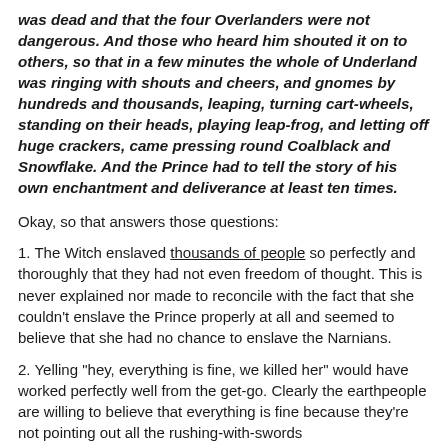was dead and that the four Overlanders were not dangerous. And those who heard him shouted it on to others, so that in a few minutes the whole of Underland was ringing with shouts and cheers, and gnomes by hundreds and thousands, leaping, turning cart-wheels, standing on their heads, playing leap-frog, and letting off huge crackers, came pressing round Coalblack and Snowflake. And the Prince had to tell the story of his own enchantment and deliverance at least ten times.
Okay, so that answers those questions:
1. The Witch enslaved thousands of people so perfectly and thoroughly that they had not even freedom of thought. This is never explained nor made to reconcile with the fact that she couldn't enslave the Prince properly at all and seemed to believe that she had no chance to enslave the Narnians.
2. Yelling "hey, everything is fine, we killed her" would have worked perfectly well from the get-go. Clearly the earthpeople are willing to believe that everything is fine because they're not pointing out all the rushing-with-swords